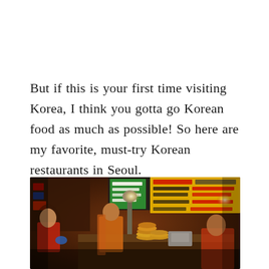But if this is your first time visiting Korea, I think you gotta go Korean food as much as possible! So here are my favorite, must-try Korean restaurants in Seoul.
[Figure (photo): A busy Korean street food market scene with vendors in orange and red vests serving food. Stacks of fried food visible on the counter, illuminated signs with Korean text and prices in the background, bright lights overhead.]